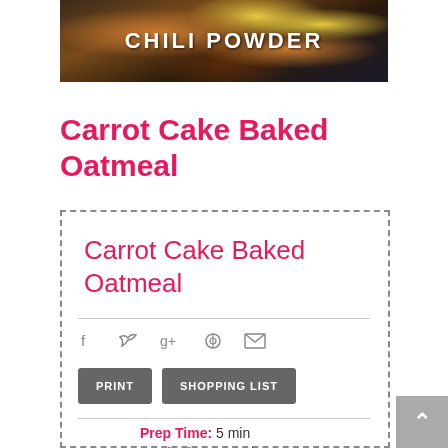[Figure (photo): Black skillet with colorful ingredients including corn, black beans and orange vegetables with text 'CHILI POWDER' overlaid]
Carrot Cake Baked Oatmeal
Carrot Cake Baked Oatmeal
Social share icons: Facebook, Twitter, Google+, Pinterest, Email
PRINT  SHOPPING LIST
Prep Time: 5 min
Cook Time: 20 min